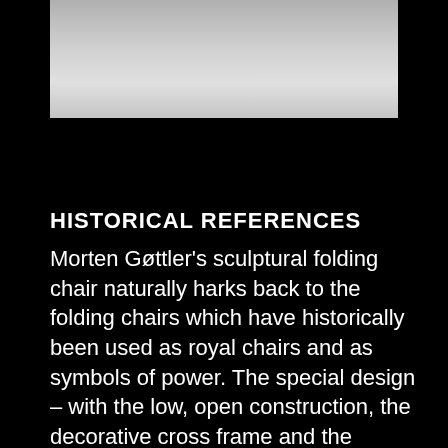[Figure (photo): Partial view of a sculptural folding chair on a light grey floor surface, cropped showing the lower portion of the chair and floor.]
HISTORICAL REFERENCES
Morten Gøttler's sculptural folding chair naturally harks back to the folding chairs which have historically been used as royal chairs and as symbols of power. The special design – with the low, open construction, the decorative cross frame and the simple unadorned look – invites a more informal seating position, while engaging stylistically in a perfect dialogue with the modernist